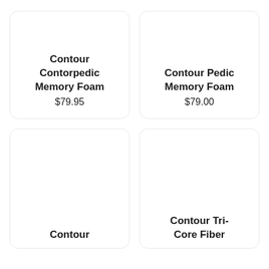Contour Contorpedic Memory Foam
$79.95
Contour Pedic Memory Foam
$79.00
Contour
Contour Tri-Core Fiber